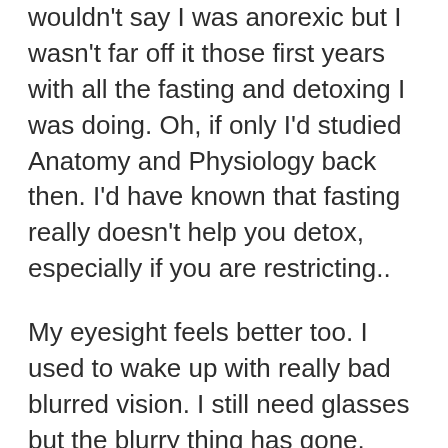wouldn't say I was anorexic but I wasn't far off it those first years with all the fasting and detoxing I was doing. Oh, if only I'd studied Anatomy and Physiology back then. I'd have known that fasting really doesn't help you detox, especially if you are restricting..
My eyesight feels better too. I used to wake up with really bad blurred vision. I still need glasses but the blurry thing has gone.
My energy is a little better, but again, I'm guessing this might take a while to